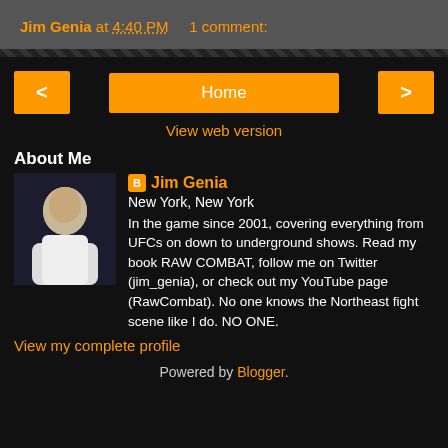Jim Genia at 4:40 PM   1 comment:
[Figure (infographic): Navigation bar with left arrow button, Home button, and right arrow button in orange on dark background]
View web version
About Me
[Figure (photo): Profile photo of Jim Genia, a man in a white shirt with arms crossed]
Jim Genia
New York, New York
In the game since 2001, covering everything from UFCs on down to underground shows. Read my book RAW COMBAT, follow me on Twitter (jim_genia), or check out my YouTube page (RawCombat). No one knows the Northeast fight scene like I do. NO ONE.
View my complete profile
Powered by Blogger.